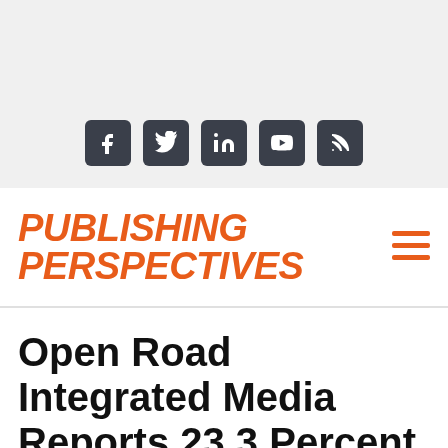[Figure (other): Top gray banner with social media icons: Facebook, Twitter, LinkedIn, YouTube, RSS feed]
PUBLISHING PERSPECTIVES
Open Road Integrated Media Reports 23.3 Percent Growth in 2019